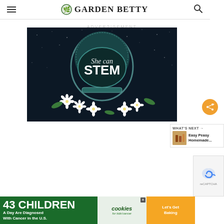GARDEN BETTY
ADVERTISEMENT
[Figure (illustration): She Can STEM advertisement showing an astronaut helmet with white flowers and script/bold text reading 'She can STEM' on a dark starry background]
[Figure (illustration): 43 Children A Day Are Diagnosed With Cancer in the U.S. — cookies for kids' cancer — Let's Get Baking advertisement banner]
[Figure (screenshot): WHAT'S NEXT panel showing 'Easy Peasy Homemade...' with thumbnail image]
[Figure (screenshot): reCAPTCHA widget area on right side]